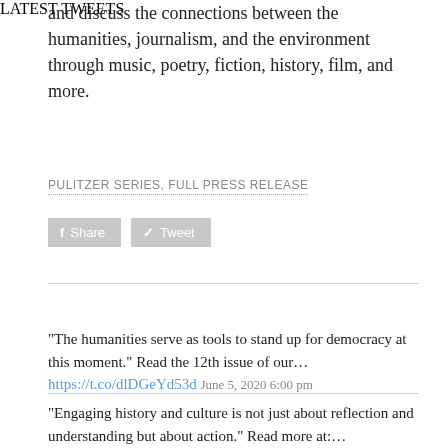and discuss the connections between the humanities, journalism, and the environment through music, poetry, fiction, history, film, and more.
PULITZER SERIES, FULL PRESS RELEASE
[Figure (other): Share and Tweet social media buttons]
LATEST TWEETS
"The humanities serve as tools to stand up for democracy at this moment." Read the 12th issue of our... https://t.co/dlDGeYd53d June 5, 2020 6:00 pm
"Engaging history and culture is not just about reflection and understanding but about action." Read more at:...